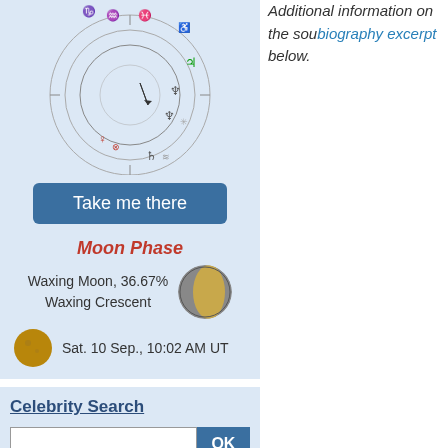[Figure (illustration): Astrological natal chart wheel with planetary symbols]
Take me there
Moon Phase
Waxing Moon, 36.67%
Waxing Crescent
[Figure (photo): Waxing crescent moon image]
[Figure (photo): Full moon image]
Sat. 10 Sep., 10:02 AM UT
Celebrity Search
Astrology Calculations
Personalized Horoscope
Your Daily Horoscope
Personality
Horoscope and Ascendant
Additional information on the source, biography excerpt below.
Horoscopes having the same a... Depp, Emma Watson, Zondaya...